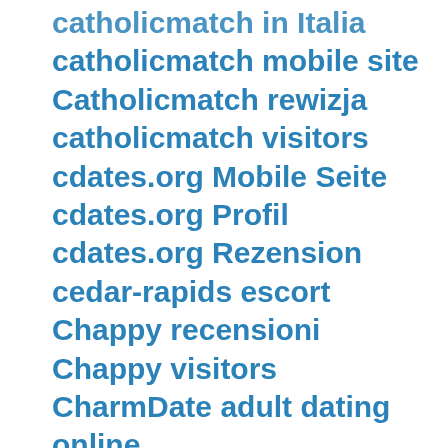catholicmatch in Italia
catholicmatch mobile site
Catholicmatch rewizja
catholicmatch visitors
cdates.org Mobile Seite
cdates.org Profil
cdates.org Rezension
cedar-rapids escort
Chappy recensioni
Chappy visitors
CharmDate adult dating online
charmdate hookup hotshot